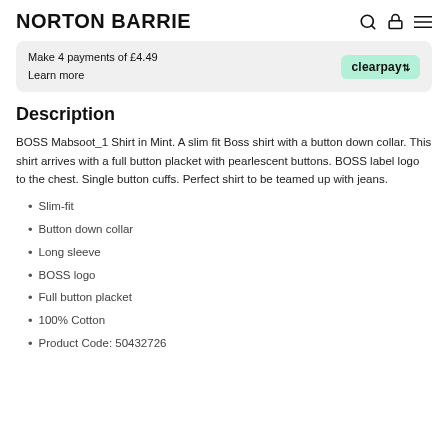NORTON BARRIE
Make 4 payments of £4.49
Learn more
Description
BOSS Mabsoot_1 Shirt in Mint. A slim fit Boss shirt with a button down collar. This shirt arrives with a full button placket with pearlescent buttons. BOSS label logo to the chest. Single button cuffs. Perfect shirt to be teamed up with jeans.
Slim-fit
Button down collar
Long sleeve
BOSS logo
Full button placket
100% Cotton
Product Code: 50432726